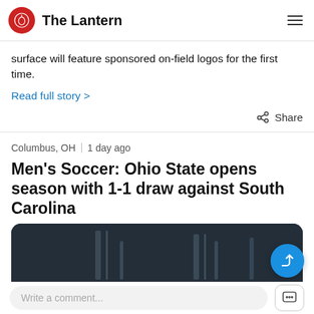The Lantern
surface will feature sponsored on-field logos for the first time.
Read full story >
Share
Columbus, OH  1 day ago
Men's Soccer: Ohio State opens season with 1-1 draw against South Carolina
[Figure (photo): Dark background photo related to the Men's Soccer article]
Write a comment...